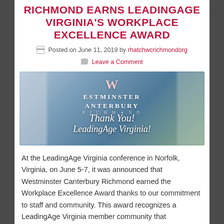RICHMOND EARNS LEADINGAGE VIRGINIA'S WORKPLACE EXCELLENCE AWARD
Posted on June 11, 2019 by rhatchwcrichmondorg
Leave a Comment
[Figure (photo): Aerial photo of Westminster Canterbury Richmond building with overlay text 'Thank You LeadingAge Virginia!' and Westminster Canterbury Richmond logo]
At the LeadingAge Virginia conference in Norfolk, Virginia, on June 5-7, it was announced that Westminster Canterbury Richmond earned the Workplace Excellence Award thanks to our commitment to staff and community. This award recognizes a LeadingAge Virginia member community that demonstrates investment in their...